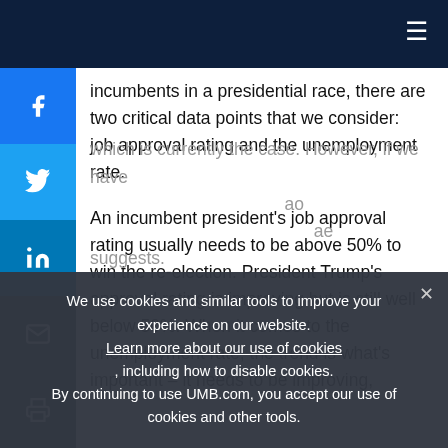incumbents in a presidential race, there are two critical data points that we consider: job approval rating and the unemployment rate.
An incumbent president’s job approval rating usually needs to be above 50% to win the re-election. President Trump’s approval rating is improving but is still well below 50%. When it comes to the unemployment rate, the trend is what’s important – it needs to be improving,
which is currently the case. However, if we have ... which is ... and ... suggests.
We use cookies and similar tools to improve your experience on our website. Learn more about our use of cookies, including how to disable cookies. By continuing to use UMB.com, you accept our use of cookies and other tools.